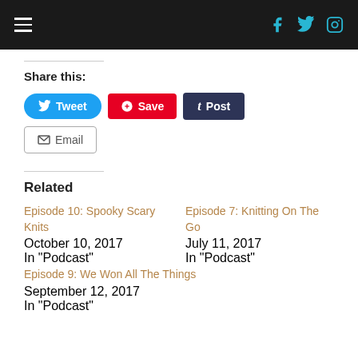Navigation bar with hamburger menu and social icons (Facebook, Twitter, Instagram)
Share this:
Tweet | Save | Post | Email
Related
Episode 10: Spooky Scary Knits
October 10, 2017
In "Podcast"
Episode 7: Knitting On The Go
July 11, 2017
In "Podcast"
Episode 9: We Won All The Things
September 12, 2017
In "Podcast"